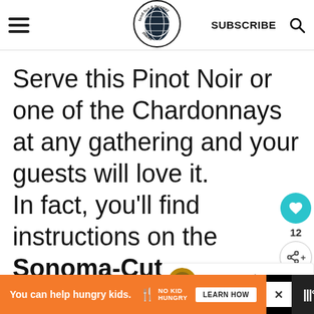food fun & faraway places — SUBSCRIBE [search icon]
Serve this Pinot Noir or one of the Chardonnays at any gathering and your guests will love it.
In fact, you'll find instructions on the Sonoma-Cutrer website for hosting a tasting party. Or you can just enjoy a bottle at home someone you love.
[Figure (infographic): Social sidebar with heart/like button showing 12 and a share button]
[Figure (infographic): What's Next panel with thumbnail and text: A Visit to Cline Cellars...]
You can help hungry kids. NO KID HUNGRY LEARN HOW